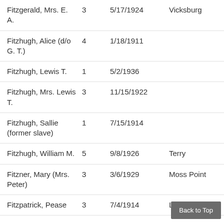| Name |  | Date | Location |
| --- | --- | --- | --- |
| Fitzgerald, Mrs. E. A. | 3 | 5/17/1924 | Vicksburg |
| Fitzhugh, Alice (d/o G. T.) | 4 | 1/18/1911 |  |
| Fitzhugh, Lewis T. | 1 | 5/2/1936 |  |
| Fitzhugh, Mrs. Lewis T. | 3 | 11/15/1922 |  |
| Fitzhugh, Sallie (former slave) | 1 | 7/15/1914 |  |
| Fitzhugh, William M. | 5 | 9/8/1926 | Terry |
| Fitzner, Mary (Mrs. Peter) | 3 | 3/6/1929 | Moss Point |
| Fitzpatrick, Pease | 3 | 7/4/1914 | Laurel |